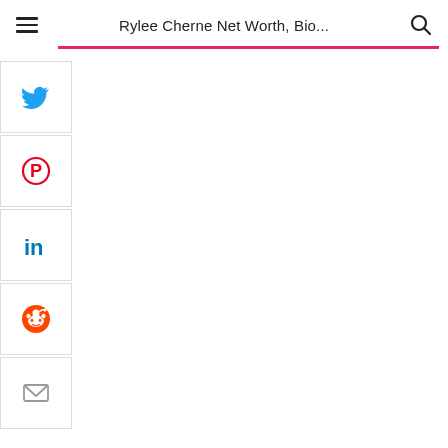Rylee Cherne Net Worth, Bio...
[Figure (screenshot): Social media share buttons sidebar with Twitter, Pinterest, LinkedIn, Reddit, and Email icons in bordered boxes on the left side of the page]